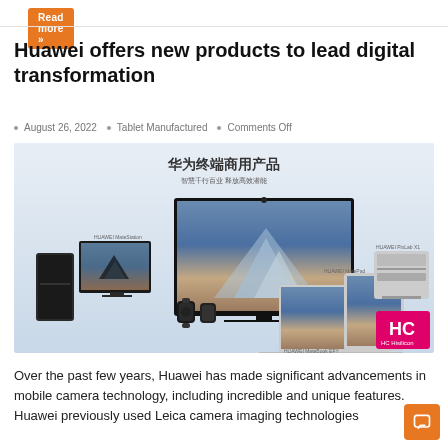Read more »
Huawei offers new products to lead digital transformation
August 26, 2022  Tablet Manufactured  Comments Off
[Figure (photo): Huawei terminal commercial products display showing desktop tower, monitors, smartwatch, laptop, tablet, and printer arranged together with Chinese text '华为终端商用产品' and subtitle '智慧千行百业 释放高效潜能' and HC Hisilicon logo in corner]
Over the past few years, Huawei has made significant advancements in mobile camera technology, including incredible and unique features. Huawei previously used Leica camera imaging technologies